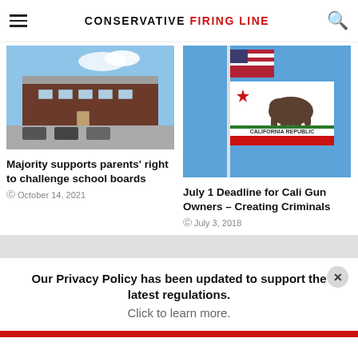CONSERVATIVE FIRING LINE
[Figure (photo): Exterior of a school building with parking lot and blue sky]
Majority supports parents' right to challenge school boards
October 14, 2021
[Figure (photo): California Republic flag with bear and red stripe, waving against blue sky with American flag behind]
July 1 Deadline for Cali Gun Owners – Creating Criminals
July 3, 2018
Our Privacy Policy has been updated to support the latest regulations. Click to learn more.